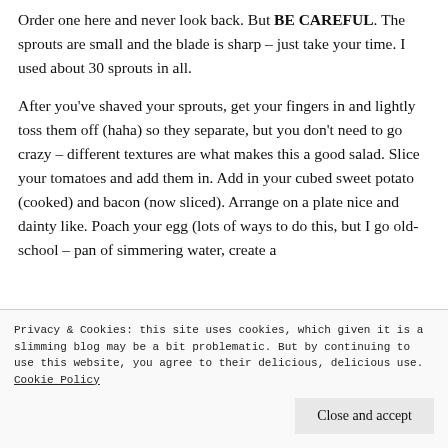Order one here and never look back. But BE CAREFUL. The sprouts are small and the blade is sharp – just take your time. I used about 30 sprouts in all.
After you've shaved your sprouts, get your fingers in and lightly toss them off (haha) so they separate, but you don't need to go crazy – different textures are what makes this a good salad. Slice your tomatoes and add them in. Add in your cubed sweet potato (cooked) and bacon (now sliced). Arrange on a plate nice and dainty like. Poach your egg (lots of ways to do this, but I go old-school – pan of simmering water, create a
Privacy & Cookies: this site uses cookies, which given it is a slimming blog may be a bit problematic. But by continuing to use this website, you agree to their delicious, delicious use. Cookie Policy
Close and accept